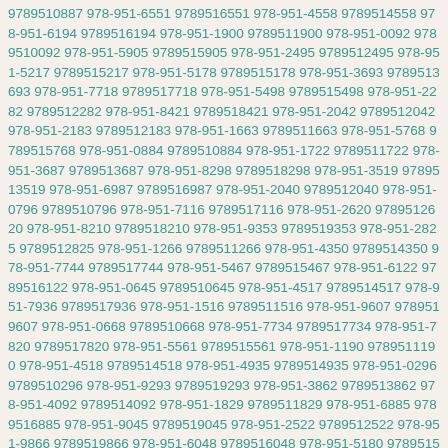9789510887 978-951-6551 9789516551 978-951-4558 9789514558 978-951-6194 9789516194 978-951-1900 9789511900 978-951-0092 9789510092 978-951-5905 9789515905 978-951-2495 9789512495 978-951-5217 9789515217 978-951-5178 9789515178 978-951-3693 9789513693 978-951-7718 9789517718 978-951-5498 9789515498 978-951-2282 9789512282 978-951-8421 9789518421 978-951-2042 9789512042 978-951-2183 9789512183 978-951-1663 9789511663 978-951-5768 9789515768 978-951-0884 9789510884 978-951-1722 9789511722 978-951-3687 9789513687 978-951-8298 9789518298 978-951-3519 9789513519 978-951-6987 9789516987 978-951-2040 9789512040 978-951-0796 9789510796 978-951-7116 9789517116 978-951-2620 9789512620 978-951-8210 9789518210 978-951-9353 9789519353 978-951-2825 9789512825 978-951-1266 9789511266 978-951-4350 9789514350 978-951-7744 9789517744 978-951-5467 9789515467 978-951-6122 9789516122 978-951-0645 9789510645 978-951-4517 9789514517 978-951-7936 9789517936 978-951-1516 9789511516 978-951-9607 9789519607 978-951-0668 9789510668 978-951-7734 9789517734 978-951-7820 9789517820 978-951-5561 9789515561 978-951-1190 9789511190 978-951-4518 9789514518 978-951-4935 9789514935 978-951-0296 9789510296 978-951-9293 9789519293 978-951-3862 9789513862 978-951-4092 9789514092 978-951-1829 9789511829 978-951-6885 9789516885 978-951-9045 9789519045 978-951-2522 9789512522 978-951-9866 9789519866 978-951-6048 9789516048 978-951-5180 9789515180 978-951-1684 9789511684 978-951-1161 9789511161 978-951-6706 9789516706 978-951-9373 9789519373 978-951-2416 9789512416 978-951-5813 9789515813 978-951-2098 9789512098 978-951-8509 9789518509 978-